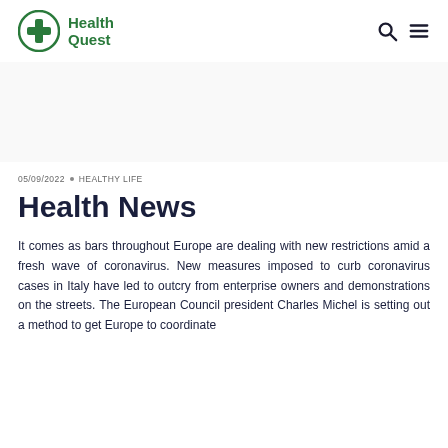Health Quest
05/09/2022 • HEALTHY LIFE
Health News
It comes as bars throughout Europe are dealing with new restrictions amid a fresh wave of coronavirus. New measures imposed to curb coronavirus cases in Italy have led to outcry from enterprise owners and demonstrations on the streets. The European Council president Charles Michel is setting out a method to get Europe to coordinate